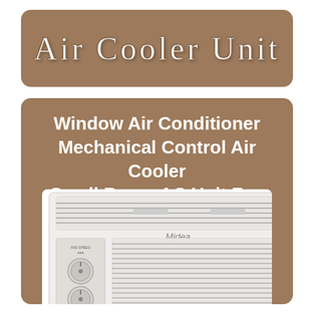Air Cooler Unit
Window Air Conditioner Mechanical Control Air Cooler Small Room AC Unit Fan 115V
[Figure (photo): Midea window air conditioner unit with mechanical controls, showing ventilation grilles on top and front, two rotary control knobs on the left side panel, and the Midea brand logo.]